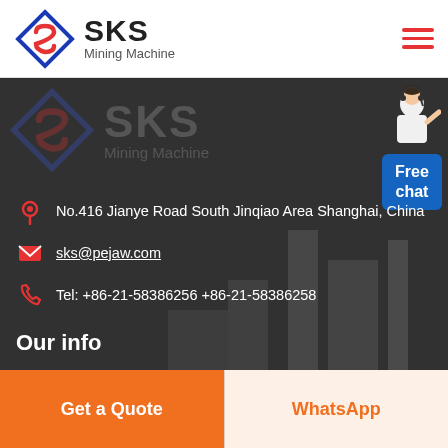SKS Mining Machine
[Figure (logo): SKS Mining Machine logo with diamond/shield shape in blue and red with stylized S, repeated twice — once in header, once as watermark in dark section]
No.416 Jianye Road South Jinqiao Area Shanghai, China
sks@pejaw.com
Tel: +86-21-58386256 +86-21-58386258
Our info
Get a Quote
WhatsApp